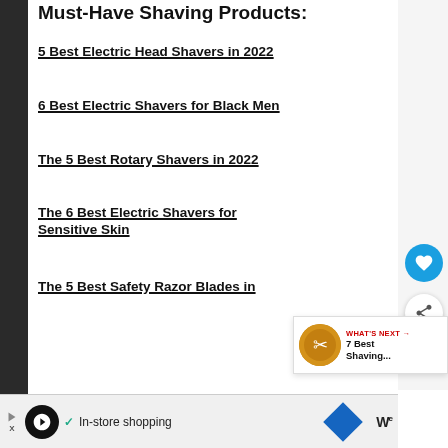Must-Have Shaving Products:
5 Best Electric Head Shavers in 2022
6 Best Electric Shavers for Black Men
The 5 Best Rotary Shavers in 2022
The 6 Best Electric Shavers for Sensitive Skin
The 5 Best Safety Razor Blades in
[Figure (other): What's Next overlay with thumbnail image and text '7 Best Shaving...']
[Figure (other): Advertisement bar at bottom: In-store shopping with icons]